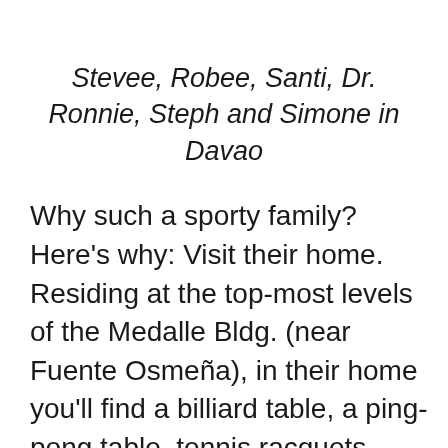Stevee, Robee, Santi, Dr. Ronnie, Steph and Simone in Davao
Why such a sporty family? Here’s why: Visit their home. Residing at the top-most levels of the Medalle Bldg. (near Fuente Osmeña), in their home you’ll find a billiard table, a ping-pong table, tennis racquets, soccer balls, golf clubs and the Nintendo Wii that plays bowling. And, during nights when Ronnie doesn’t play his M-W-F tennis